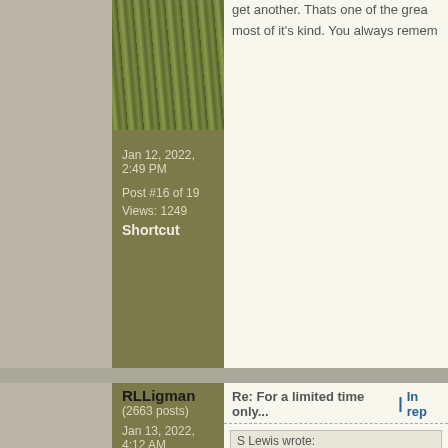[Figure (photo): Grass/reeds photo cropped at top]
Jan 12, 2022, 2:49 PM
Post #16 of 19
Views: 1249
Shortcut
get another. Thats one of the grea most of it's kind. You always remem
RLLigman
(2663 posts)
Jan 13, 2022, 4:12 AM
Post #17 of 19
Views: 1204
Shortcut
Re: For a limited time only... | In rep
S Lewis wrote:
I recall often my goose hunts o and then see geese approachi scenario I'm sure plays out in r

I also recall running over a bla where the bear upchucked son would have to wait since it was I remember also becoming a li were hunting. Made setting up I also remember the farmer ins commit.

Thanks Cody for taking me on Steve